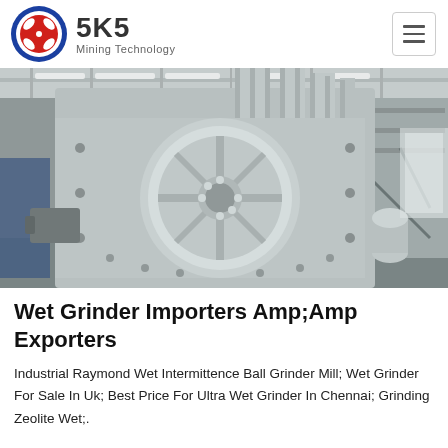SKS Mining Technology
[Figure (photo): Large industrial jaw crusher machine photographed inside a factory/warehouse setting. The machine is painted grey and features a large circular flywheel. The factory interior is visible in the background with industrial lighting.]
Wet Grinder Importers Amp;Amp Exporters
Industrial Raymond Wet Intermittence Ball Grinder Mill; Wet Grinder For Sale In Uk; Best Price For Ultra Wet Grinder In Chennai; Grinding Zeolite Wet;.